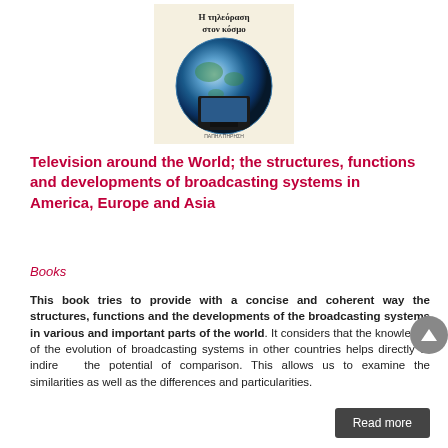[Figure (illustration): Book cover showing a globe with a television set in front of it. Greek text at top reads 'Η τηλεόραση στον κόσμο'. Publisher name at bottom.]
Television around the World; the structures, functions and developments of broadcasting systems in America, Europe and Asia
Books
This book tries to provide with a concise and coherent way the structures, functions and the developments of the broadcasting systems in various and important parts of the world. It considers that the knowledge of the evolution of broadcasting systems in other countries helps directly or indirectly the potential of comparison. This allows us to examine the similarities as well as the differences and particularities.
Read more